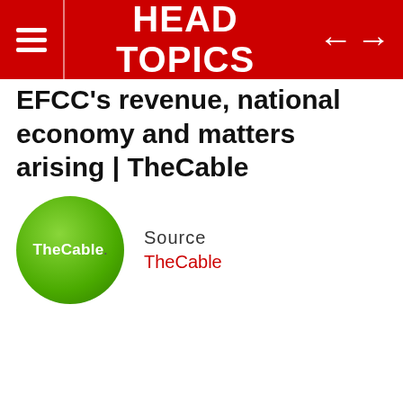HEAD TOPICS
EFCC's revenue, national economy and matters arising | TheCable
[Figure (logo): TheCable green circular logo with white text]
Source
TheCable